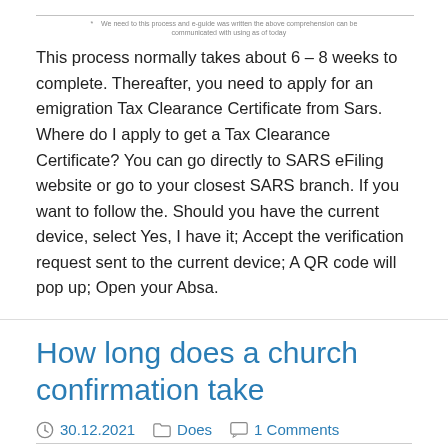This process normally takes about 6 – 8 weeks to complete. Thereafter, you need to apply for an emigration Tax Clearance Certificate from Sars. Where do I apply to get a Tax Clearance Certificate? You can go directly to SARS eFiling website or go to your closest SARS branch. If you want to follow the. Should you have the current device, select Yes, I have it; Accept the verification request sent to the current device; A QR code will pop up; Open your Absa.
How long does a church confirmation take
30.12.2021   Does   1 Comments   Carlos Rangel
[Figure (illustration): Black and white emblem resembling the Iran national emblem – a stylized tulip/sword symbol with curved elements forming a globe-like shape, with a crown-like top detail.]